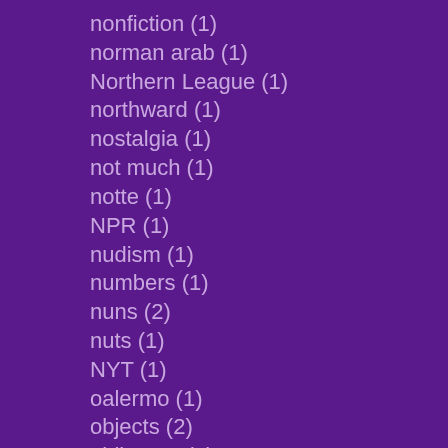nonfiction (1)
norman arab (1)
Northern League (1)
northward (1)
nostalgia (1)
not much (1)
notte (1)
NPR (1)
nudism (1)
numbers (1)
nuns (2)
nuts (1)
NYT (1)
oalermo (1)
objects (2)
obliterate (1)
obscene (1)
Occupy (2)
odyssey (1)